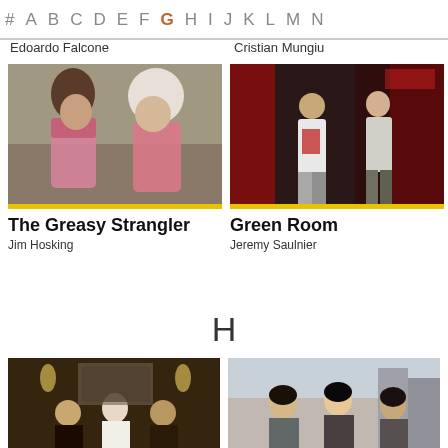# A B C D E F G H I J K L M N
Edoardo Falcone
Cristian Mungiu
[Figure (photo): Two people facing each other wearing pink tops — scene from The Greasy Strangler]
The Greasy Strangler
Jim Hosking
[Figure (photo): Two young people in a dark alley with red lighting — scene from Green Room]
Green Room
Jeremy Saulnier
H
[Figure (photo): Scene from a film — people in a dimly lit room]
[Figure (photo): Scene from a film — people outdoors on a city street]